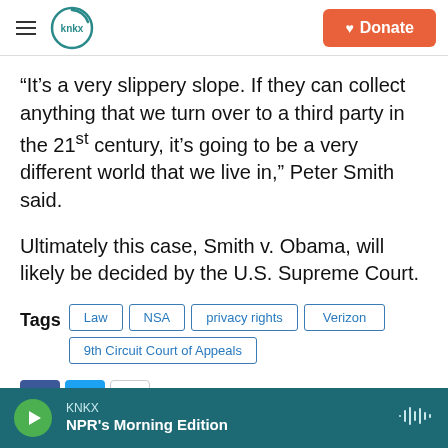KNKX — Donate
“It’s a very slippery slope. If they can collect anything that we turn over to a third party in the 21st century, it’s going to be a very different world that we live in,” Peter Smith said.
Ultimately this case, Smith v. Obama, will likely be decided by the U.S. Supreme Court.
Tags: Law | NSA | privacy rights | Verizon | 9th Circuit Court of Appeals
KNKX — NPR’s Morning Edition